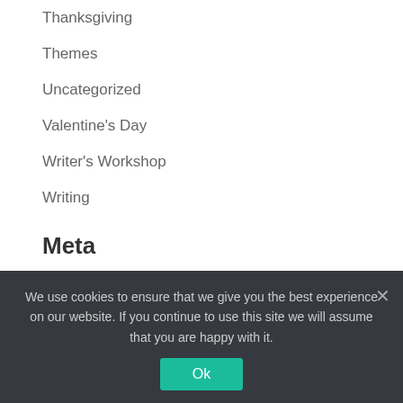Thanksgiving
Themes
Uncategorized
Valentine's Day
Writer's Workshop
Writing
Meta
Log in
Entries feed
Comments feed
We use cookies to ensure that we give you the best experience on our website. If you continue to use this site we will assume that you are happy with it.
Ok